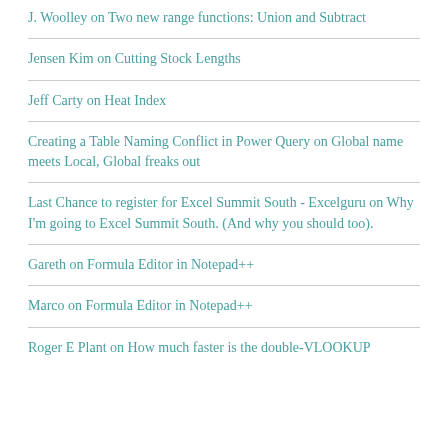J. Woolley on Two new range functions: Union and Subtract
Jensen Kim on Cutting Stock Lengths
Jeff Carty on Heat Index
Creating a Table Naming Conflict in Power Query on Global name meets Local, Global freaks out
Last Chance to register for Excel Summit South - Excelguru on Why I'm going to Excel Summit South. (And why you should too).
Gareth on Formula Editor in Notepad++
Marco on Formula Editor in Notepad++
Roger E Plant on How much faster is the double-VLOOKUP